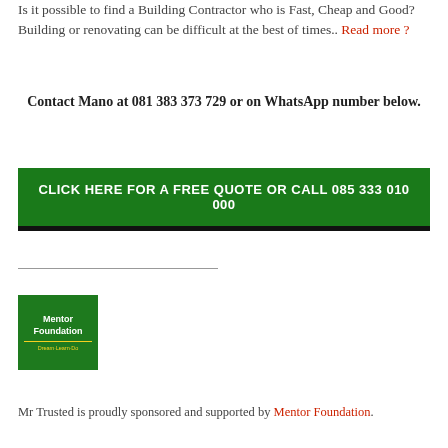Is it possible to find a Building Contractor who is Fast, Cheap and Good? Building or renovating can be difficult at the best of times.. Read more ?
Contact Mano at 081 383 373 729 or on WhatsApp number below.
[Figure (infographic): Green button reading CLICK HERE FOR A FREE QUOTE OR CALL 085 333 010 000 with black border at bottom]
[Figure (logo): Mentor Foundation logo — green square with white text Mentor Foundation and yellow tagline Dream·Learn·Do]
Mr Trusted is proudly sponsored and supported by Mentor Foundation.